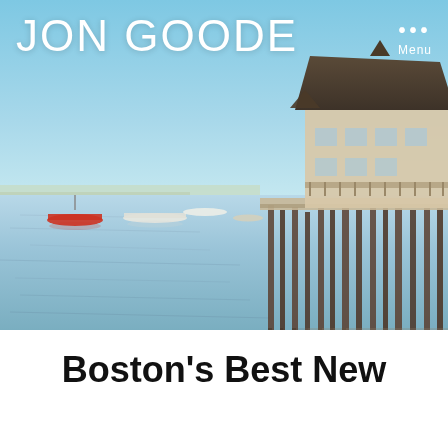JON GOODE ... Menu
[Figure (photo): Waterfront scene with wooden pier/dock structure and building on stilts over calm water. Small boats moored in the harbor. Clear blue sky. Coastal New England setting, likely Cape Cod or Provincetown, Massachusetts.]
Boston's Best New